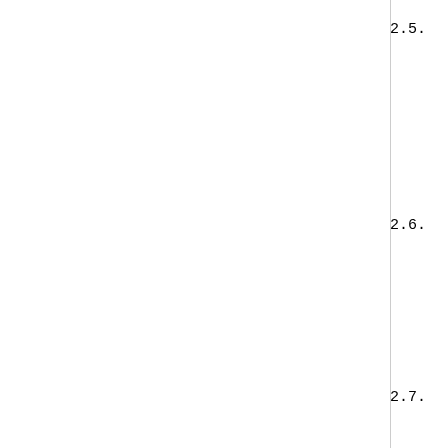2.5.   CertificateExactAsserti
( 1.3.6.1.1.15.1 DESC
A value of this syntax is defined by clause 11.3.1].  Values of Generic String Encoding Ru provides an equivalent Aug grammar for this syntax.
2.6.  CertificateAssertion
( 1.3.6.1.1.15.2 DESC
A value of this syntax is defined by clause 11.3.2].  Values of [RFC3641].  Appendix A.2 p grammar for this syntax.
2.7.  CertificatePairExactAs